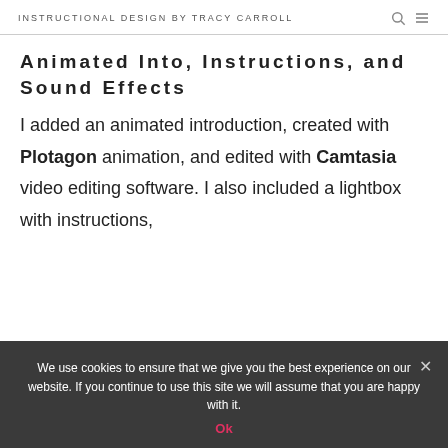INSTRUCTIONAL DESIGN BY TRACY CARROLL
Animated Into, Instructions, and Sound Effects
I added an animated introduction, created with Plotagon animation, and edited with Camtasia video editing software. I also included a lightbox with instructions,
We use cookies to ensure that we give you the best experience on our website. If you continue to use this site we will assume that you are happy with it. Ok